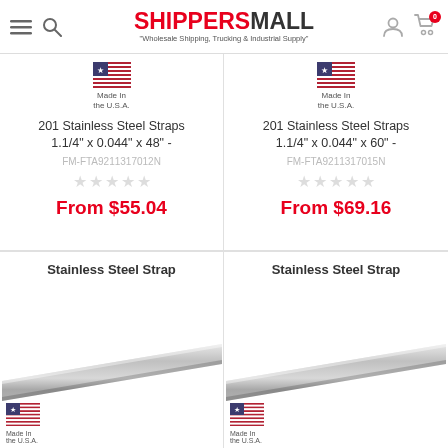ShippersMall - Wholesale Shipping, Trucking & Industrial Supply
201 Stainless Steel Straps 1.1/4" x 0.044" x 48" - FM-FTA9211317012N From $55.04
201 Stainless Steel Straps 1.1/4" x 0.044" x 60" - FM-FTA9211317015N From $69.16
[Figure (photo): Stainless Steel Strap product image - bottom left card]
[Figure (photo): Stainless Steel Strap product image - bottom right card]